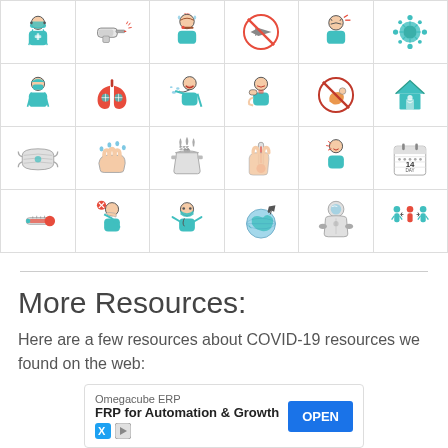[Figure (illustration): A 4-row by 6-column grid of COVID-19 related icons including: medical worker with mask, thermometer gun, person with fever, no flying sign, stressed person, coronavirus particle, surgeon, lungs with virus, person coughing, person with sore throat, no meat sign, stay home icon, N95 mask, hand washing, cooking pot, holding thermometer, person with neck pain, 14-day calendar, thermometer, person covering mouth, masked person, globe with airplane, hazmat suit person, social distancing people]
More Resources:
Here are a few resources about COVID-19 resources we found on the web:
[Figure (other): Advertisement banner: Omegacube ERP - FRP for Automation & Growth with OPEN button]